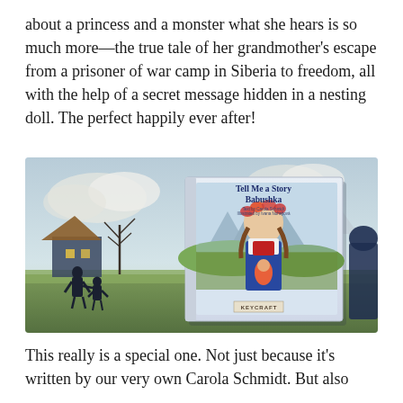about a princess and a monster what she hears is so much more—the true tale of her grandmother's escape from a prisoner of war camp in Siberia to freedom, all with the help of a secret message hidden in a nesting doll. The perfect happily ever after!
[Figure (photo): Photo of the book 'Tell Me a Story Babushka' displayed against an illustrated background showing silhouettes of people near a cottage and mountains, with the book cover featuring a girl in traditional dress holding a nesting doll, published by Keycraft.]
This really is a special one. Not just because it's written by our very own Carola Schmidt. But also